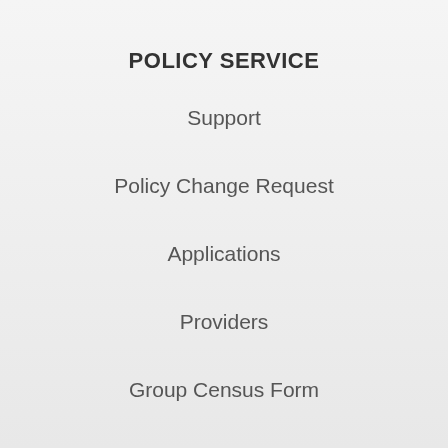POLICY SERVICE
Support
Policy Change Request
Applications
Providers
Group Census Form
CONTACT